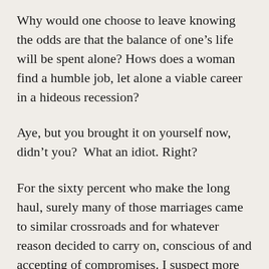Why would one choose to leave knowing the odds are that the balance of one’s life will be spent alone? Hows does a woman find a humble job, let alone a viable career in a hideous recession?
Aye, but you brought it on yourself now, didn’t you?  What an idiot. Right?
For the sixty percent who make the long haul, surely many of those marriages came to similar crossroads and for whatever reason decided to carry on, conscious of and accepting of compromises. I suspect more than a few stay put out of fear over losing the lower half of the